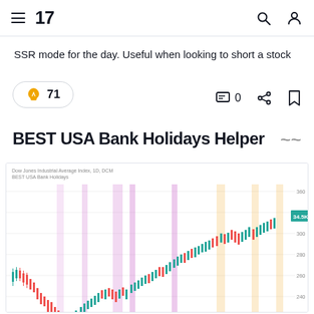TradingView navigation bar with hamburger menu, TV logo, search and profile icons
SSR mode for the day. Useful when looking to short a stock
🚀 71   💬 0   share   bookmark
BEST USA Bank Holidays Helper
[Figure (continuous-plot): Candlestick chart of Dow Jones Industrial Average Index showing price trend with vertical colored bands (pink/purple and orange/yellow) marking USA bank holidays. Chart shows upward trend over time. Green and red candlesticks. Labels at bottom showing holiday names in pink and gold/yellow boxes. Y-axis shows price levels from ~200 to 360+.]